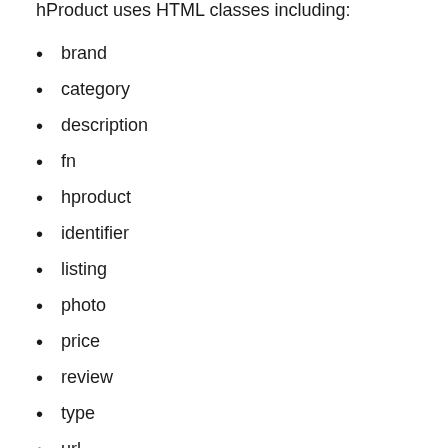hProduct uses HTML classes including:
brand
category
description
fn
hproduct
identifier
listing
photo
price
review
type
url